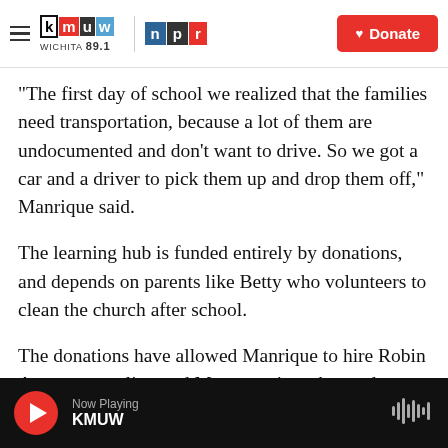KMUW Wichita 89.1 | NPR | Donate
"The first day of school we realized that the families need transportation, because a lot of them are undocumented and don't want to drive. So we got a car and a driver to pick them up and drop them off," Manrique said.
The learning hub is funded entirely by donations, and depends on parents like Betty who volunteers to clean the church after school.
The donations have allowed Manrique to hire Robin Armstrong, a licensed Montessori teacher and two
Now Playing KMUW